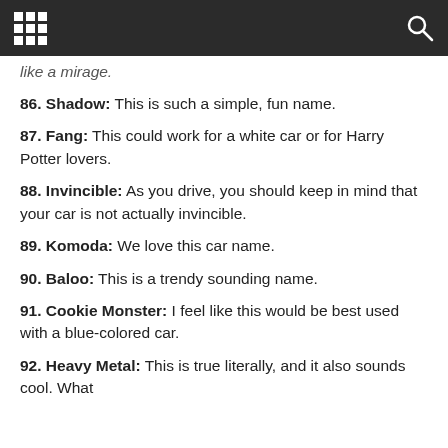[grid icon] [search icon]
like a mirage.
86. Shadow: This is such a simple, fun name.
87. Fang: This could work for a white car or for Harry Potter lovers.
88. Invincible: As you drive, you should keep in mind that your car is not actually invincible.
89. Komoda: We love this car name.
90. Baloo: This is a trendy sounding name.
91. Cookie Monster: I feel like this would be best used with a blue-colored car.
92. Heavy Metal: This is true literally, and it also sounds cool. What